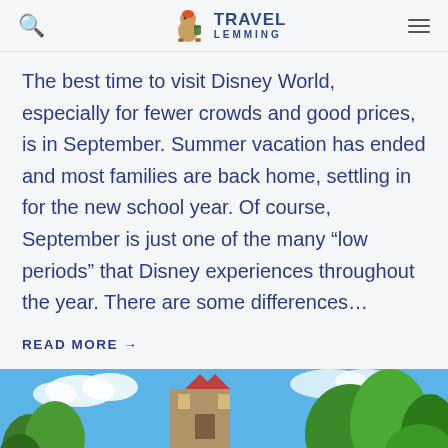Travel Lemming
The best time to visit Disney World, especially for fewer crowds and good prices, is in September. Summer vacation has ended and most families are back home, settling in for the new school year. Of course, September is just one of the many “low periods” that Disney experiences throughout the year. There are some differences…
READ MORE →
[Figure (photo): Outdoor photo of a theme park building with blue sky, palm trees and lush greenery]
[Figure (screenshot): Ad banner for Rollic game app - They Are Coming! with Download link]